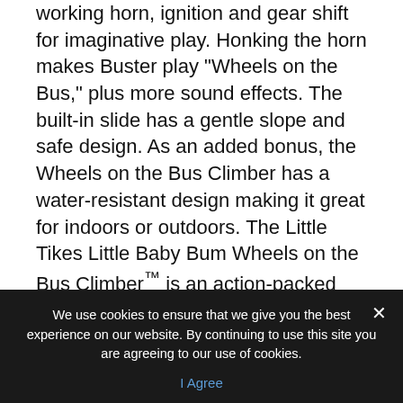working horn, ignition and gear shift for imaginative play. Honking the horn makes Buster play "Wheels on the Bus," plus more sound effects. The built-in slide has a gentle slope and safe design. As an added bonus, the Wheels on the Bus Climber has a water-resistant design making it great for indoors or outdoors. The Little Tikes Little Baby Bum Wheels on the Bus Climber™ is an action-packed activity climber with loads of pretend play! Inspired by the popular "Wheels on the Bus" Little Baby Bum episode with over 2.2 billion views. Available now online at Amazon.com and Walmart.com.
[Figure (illustration): Partial yellow circular icon visible at bottom of main content area]
We use cookies to ensure that we give you the best experience on our website. By continuing to use this site you are agreeing to our use of cookies.
I Agree